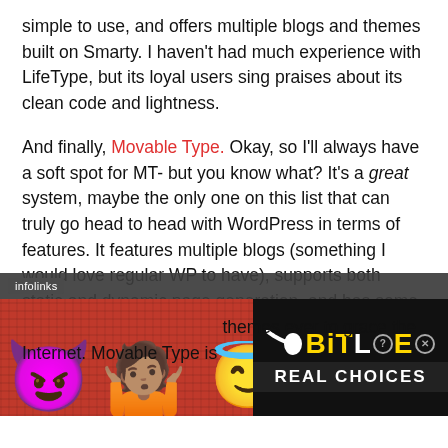simple to use, and offers multiple blogs and themes built on Smarty. I haven't had much experience with LifeType, but its loyal users sing praises about its clean code and lightness.
And finally, Movable Type. Okay, so I'll always have a soft spot for MT- but you know what? It's a great system, maybe the only one on this list that can truly go head to head with WordPress in terms of features. It features multiple blogs (something I would love regular WP to have), supports both static and dynamic page generation, and has some of the most beautiful blog themes ever to grace the Internet. Movable Type is
[Figure (infographic): BitLife advertisement banner with infolinks label, devil emoji, person shrugging emoji, angel emoji on red background, and BitLife logo with 'REAL CHOICES' text on black background]